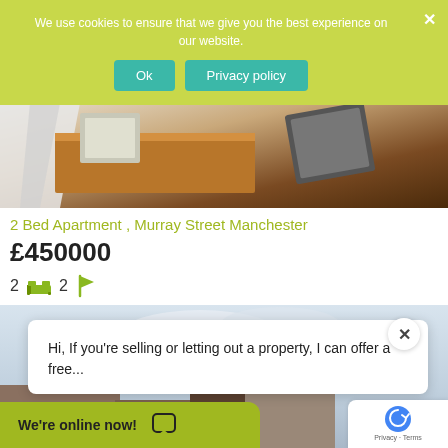We use cookies to ensure that we give you the best experience on our website.
Ok | Privacy policy
[Figure (photo): Interior photo showing a wooden desk with items on it, warm brown hardwood floor visible]
2 Bed Apartment , Murray Street Manchester
£450000
2 [bed icon] 2 [arrow icon]
[Figure (photo): Street view photo showing Manchester urban buildings with cloudy sky]
Hi, If you're selling or letting out a property, I can offer a free...
We're online now!